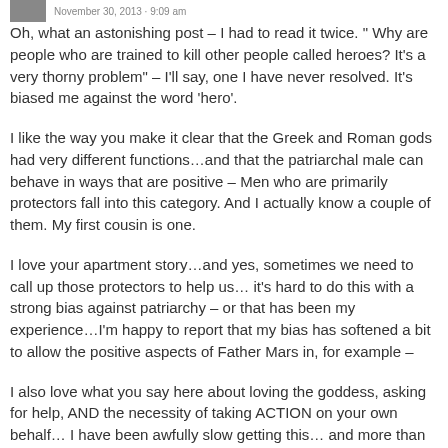November 30, 2013 · 9:09 am
Oh, what an astonishing post – I had to read it twice. " Why are people who are trained to kill other people called heroes? It's a very thorny problem" – I'll say, one I have never resolved. It's biased me against the word 'hero'.
I like the way you make it clear that the Greek and Roman gods had very different functions…and that the patriarchal male can behave in ways that are positive – Men who are primarily protectors fall into this category. And I actually know a couple of them. My first cousin is one.
I love your apartment story…and yes, sometimes we need to call up those protectors to help us… it's hard to do this with a strong bias against patriarchy – or that has been my experience…I'm happy to report that my bias has softened a bit to allow the positive aspects of Father Mars in, for example –
I also love what you say here about loving the goddess, asking for help, AND the necessity of taking ACTION on your own behalf… I have been awfully slow getting this… and more than done for this illuminating post.